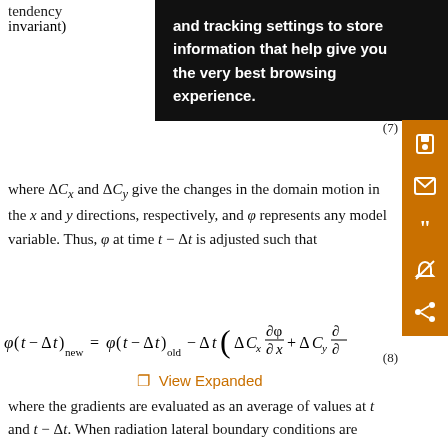tendency ... (line continues) invariant)
and tracking settings to store information that help give you the very best browsing experience.
where ΔC_x and ΔC_y give the changes in the domain motion in the x and y directions, respectively, and φ represents any model variable. Thus, φ at time t − Δt is adjusted such that
⛶  View Expanded
where the gradients are evaluated as an average of values at t and t − Δt. When radiation lateral boundary conditions are used in a homogeneous environment, a